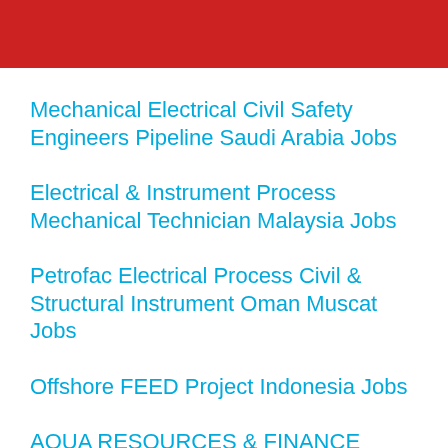[Figure (other): Red banner/header bar at top of page]
Mechanical Electrical Civil Safety Engineers Pipeline Saudi Arabia Jobs
Electrical & Instrument Process Mechanical Technician Malaysia Jobs
Petrofac Electrical Process Civil & Structural Instrument Oman Muscat Jobs
Offshore FEED Project Indonesia Jobs
AQUA RESOURCES & FINANCE EUROPE JOBS